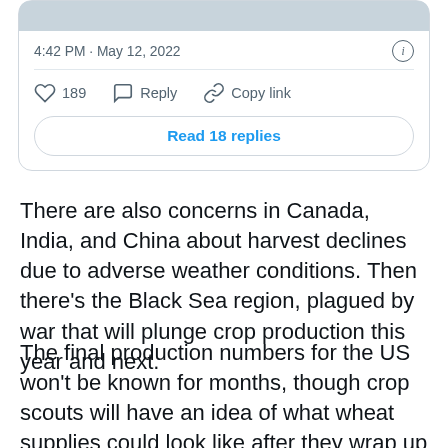[Figure (screenshot): Partial tweet card showing timestamp 4:42 PM · May 12, 2022, action buttons (189 likes, Reply, Copy link), and a 'Read 18 replies' button]
There are also concerns in Canada, India, and China about harvest declines due to adverse weather conditions. Then there's the Black Sea region, plagued by war that will plunge crop production this year and next.
The final production numbers for the US won't be known for months, though crop scouts will have an idea of what wheat supplies could look like after they wrap up their inspections. USDA's expected to release its estimate based on hundreds of samples on Thursday.